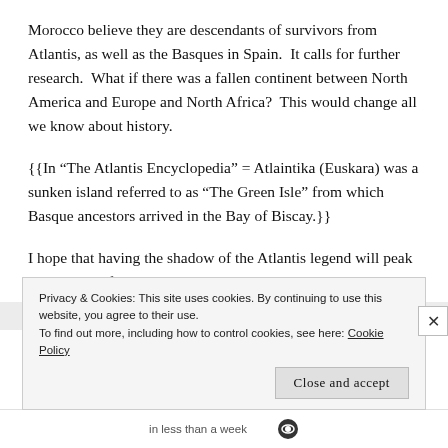Morocco believe they are descendants of survivors from Atlantis, as well as the Basques in Spain.  It calls for further research.  What if there was a fallen continent between North America and Europe and North Africa?  This would change all we know about history.
{{In “The Atlantis Encyclopedia” = Atlaintika (Euskara) was a sunken island referred to as “The Green Isle” from which Basque ancestors arrived in the Bay of Biscay.}}
I hope that having the shadow of the Atlantis legend will peak the interest of the reader, perhaps creating a
Privacy & Cookies: This site uses cookies. By continuing to use this website, you agree to their use.
To find out more, including how to control cookies, see here: Cookie Policy
Close and accept
in less than a week